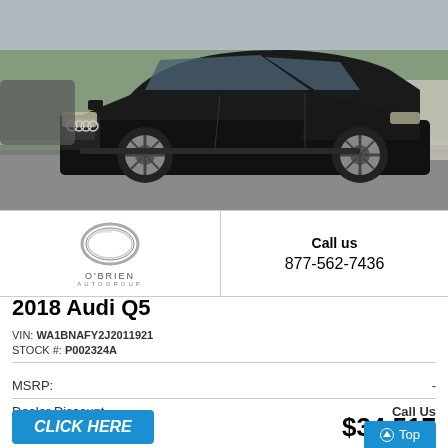[Figure (photo): Black 2018 Audi Q5 SUV photographed in a parking lot with trees and cloudy sky in background]
[Figure (logo): O'Brien Autogroup logo with circular chrome ring emblem above text O'BRIEN AUTOGROUP]
Call us
877-562-7436
2018 Audi Q5
VIN: WA1BNAFY2J2011921
STOCK #: P002324A
MSRP: -
Dealer Discount  Call Us
CLICK HERE
$34,517